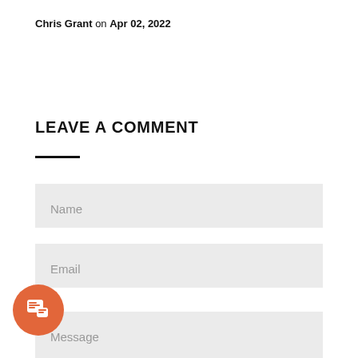Chris Grant on Apr 02, 2022
LEAVE A COMMENT
Name
Email
Message
[Figure (illustration): Orange circular chat button with chat bubble icon in bottom-left corner]